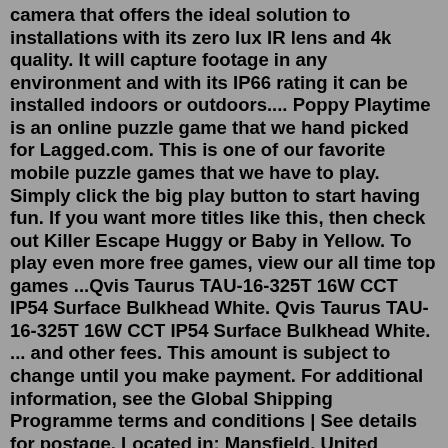camera that offers the ideal solution to installations with its zero lux IR lens and 4k quality. It will capture footage in any environment and with its IP66 rating it can be installed indoors or outdoors.... Poppy Playtime is an online puzzle game that we hand picked for Lagged.com. This is one of our favorite mobile puzzle games that we have to play. Simply click the big play button to start having fun. If you want more titles like this, then check out Killer Escape Huggy or Baby in Yellow. To play even more free games, view our all time top games ...Qvis Taurus TAU-16-325T 16W CCT IP54 Surface Bulkhead White. Qvis Taurus TAU-16-325T 16W CCT IP54 Surface Bulkhead White. ... and other fees. This amount is subject to change until you make payment. For additional information, see the Global Shipping Programme terms and conditions | See details for postage. Located in: Mansfield, United Kingdom.당사의 제품은 아닙니다. · QVIS의 GCP, GLP (GCLP), GVP 등의 글로벌 규정을 준수하는 방식으로 SQA 및 RQA담당 부서를 통하여 관리하고 있습니다. · QVIS의 모든 자재들은 전 공. 정에서 품질과 안전성을 철저히 관리. US certified. · Qvis